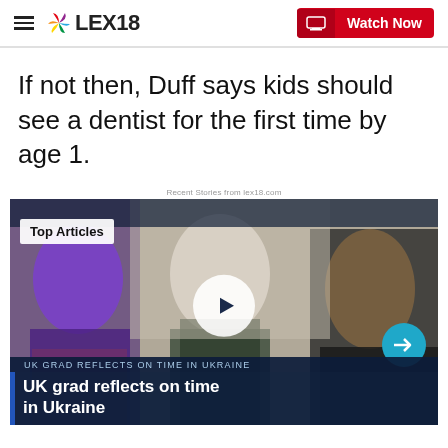LEX18 | Watch Now
If not then, Duff says kids should see a dentist for the first time by age 1.
Recent Stories from lex18.com
[Figure (screenshot): Video thumbnail showing three women in conversation, with 'Top Articles' badge, play button overlay, arrow navigation button, lower ticker reading 'UK GRAD REFLECTS ON TIME IN UKRAINE', and headline 'UK grad reflects on time in Ukraine' on dark blue lower bar.]